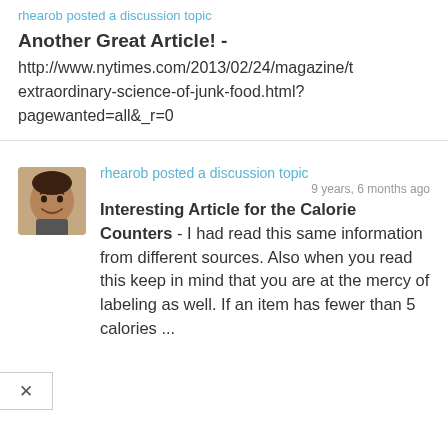rhearob posted a discussion topic
Another Great Article!
http://www.nytimes.com/2013/02/24/magazine/the-extraordinary-science-of-junk-food.html?pagewanted=all&_r=0
[Figure (photo): Avatar photo of rhearob, a person smiling]
rhearob posted a discussion topic
9 years, 6 months ago
Interesting Article for the Calorie Counters - I had read this same information from different sources.  Also when you read this keep in mind that you are at the mercy of labeling as well.  If an item has fewer than 5 calories ...